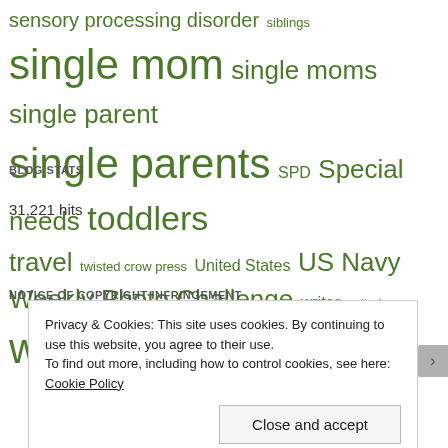sensory processing disorder  siblings  single mom  single moms  single parent  single parents  SPD  Special needs  toddlers  travel  twisted crow press  United States  US Navy  Weekly Photo Challenge  writer  writer's  writing
BLOG STATS
31,221 hits
NOTICE OF COPYRIGHT INFRINGEMENT
Privacy & Cookies: This site uses cookies. By continuing to use this website, you agree to their use.
To find out more, including how to control cookies, see here: Cookie Policy
Close and accept